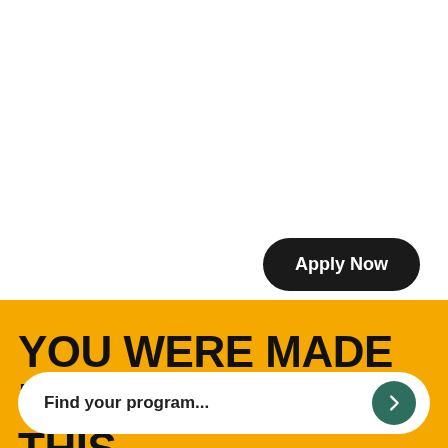Apply Now
YOU WERE MADE FOR THIS
Find your program...